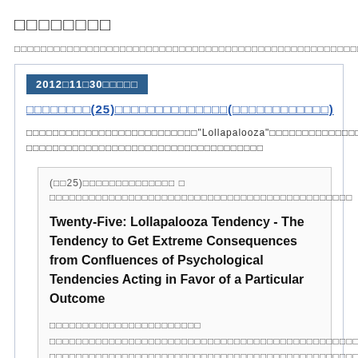□□□□□□□□
□□□□□□□□□□□□□□□□□□□□□□□□□□□□□□□□□□□□□□□□□□□□□□□□□□□□□□
2012□11□30□□□□□
□□□□□□□□(25)□□□□□□□□□□□□□□(□□□□□□□□□□□□)
□□□□□□□□□□□□□□□□□□□□□□□□□□"Lollapalooza"□□□□□□□□□□□□□□□□□□□□□□□□□□□□□□□□□□□□□□□□□□□□□□□□
(□□25)□□□□□□□□□□□□□□ □ □□□□□□□□□□□□□□□□□□□□□□□□□□□□□□□□□□□□□□□□□□□□□□
Twenty-Five: Lollapalooza Tendency - The Tendency to Get Extreme Consequences from Confluences of Psychological Tendencies Acting in Favor of a Particular Outcome
□□□□□□□□□□□□□□□□□□□□□□□ □□□□□□□□□□□□□□□□□□□□□□□□□□□□□□□□□□□□□□□□□□□□□□□□□□□□□□□□□□□□□□□□□□□□□□□□□□□□□□□□□□□□□□□□□□□□□□□□□□□□□□□□□□□□□□□□□□□□□□□□□□□□□□□□□□□□□□□□□□□□□□□□□□□□□□□□□□□□□□□□□□□□□□□□□□□□□□□□